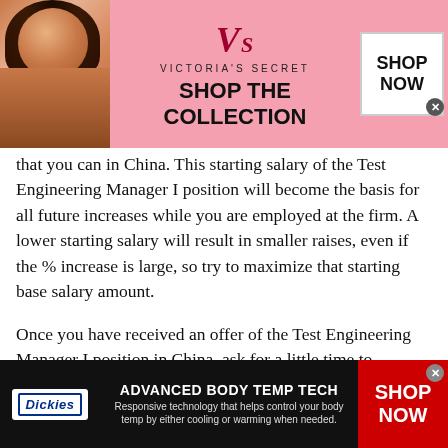[Figure (screenshot): Victoria's Secret advertisement banner with model, logo, 'SHOP THE COLLECTION' text, and 'SHOP NOW' button]
that you can in China. This starting salary of the Test Engineering Manager I position will become the basis for all future increases while you are employed at the firm. A lower starting salary will result in smaller raises, even if the % increase is large, so try to maximize that starting base salary amount.
Once you have received an offer of the Test Engineering Manager I position in China, ask for a little time to consider it. Research salary levels for
This site uses cookies and other similar technologies to provide site functionality, analyze traffic and usage, and
[Figure (screenshot): Dickies Advanced Body Temp Tech advertisement banner with logo, product description, and 'SHOP NOW' button]